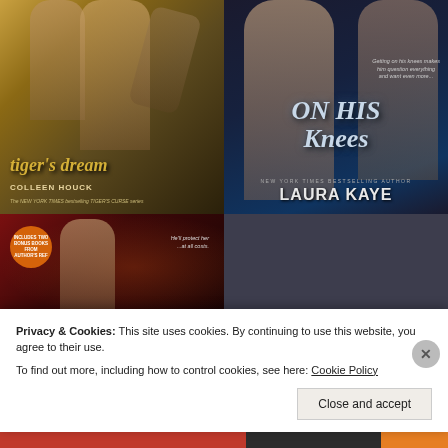[Figure (photo): Book cover: Tiger's Dream by Colleen Houck, showing fantasy figures with golden tones]
[Figure (photo): Book cover: On His Knees by Laura Kaye, showing shirtless figures on dark background with blue typography]
[Figure (photo): Book cover: third book showing a man on a dark red background with text 'He'll protect her ...at all costs.']
Privacy & Cookies: This site uses cookies. By continuing to use this website, you agree to their use.
To find out more, including how to control cookies, see here: Cookie Policy
Close and accept